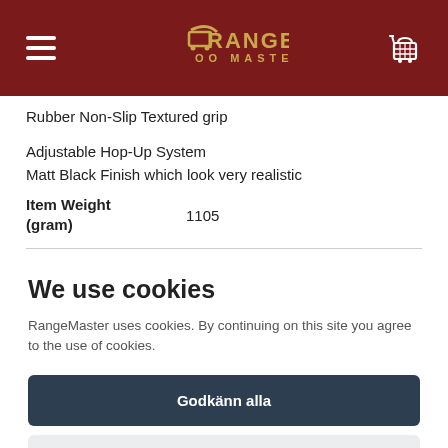RangeMaster e-commerce site header with hamburger menu, logo, and cart icon
Rubber Non-Slip Textured grip
Adjustable Hop-Up System
Matt Black Finish which look very realistic
| Item Weight (gram) |  |
| --- | --- |
|  | 1105 |
We use cookies
RangeMaster uses cookies. By continuing on this site you agree to the use of cookies.
Godkänn alla
Endast nödvändiga